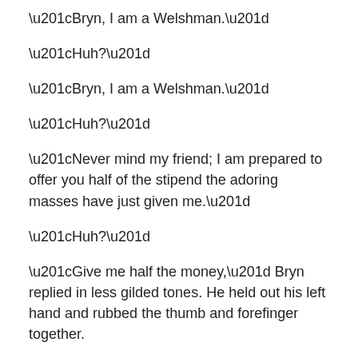“Bryn, I am a Welshman.”
“Huh?”
“Bryn, I am a Welshman.”
“Huh?”
“Never mind my friend; I am prepared to offer you half of the stipend the adoring masses have just given me.”
“Huh?”
“Give me half the money,” Bryn replied in less gilded tones. He held out his left hand and rubbed the thumb and forefinger together.
“No.”
“Yes,” replied Bryn